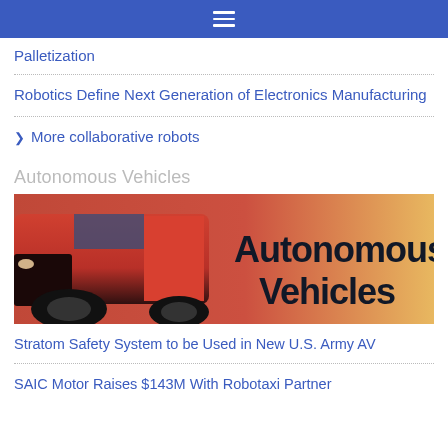☰
Palletization
Robotics Define Next Generation of Electronics Manufacturing
More collaborative robots
Autonomous Vehicles
[Figure (photo): Red autonomous vehicle with bold text overlay reading 'Autonomous Vehicles' on a warm yellow-orange background]
Stratom Safety System to be Used in New U.S. Army AV
SAIC Motor Raises $143M With Robotaxi Partner